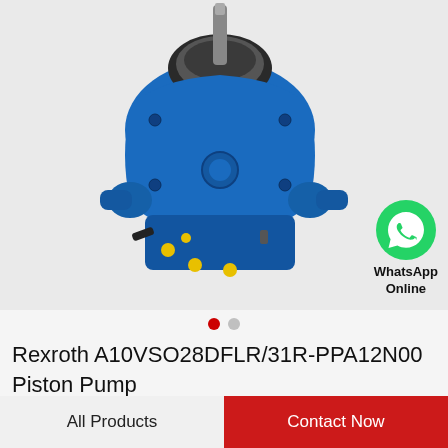[Figure (photo): Blue Rexroth A10VSO28DFLR/31R-PPA12N00 axial piston hydraulic pump with shaft sticking upward, viewed from above at an angle. The pump body is bright blue with yellow port indicators and a metallic bearing assembly on top.]
[Figure (logo): WhatsApp green circle logo icon with white phone handset, labeled 'WhatsApp Online' in black text below]
Rexroth A10VSO28DFLR/31R-PPA12N00 Piston Pump
All Products
Contact Now